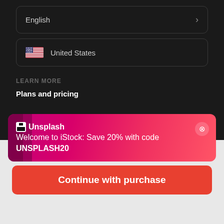English
United States
LEARN MORE
Plans and pricing
[Figure (screenshot): Unsplash promotional banner: Welcome to iStock: Save 20% with code UNSPLASH20]
$12 | 1 credit
Continue with purchase